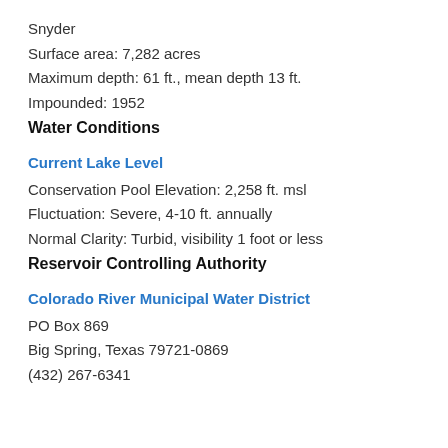Snyder
Surface area: 7,282 acres
Maximum depth: 61 ft., mean depth 13 ft.
Impounded: 1952
Water Conditions
Current Lake Level
Conservation Pool Elevation: 2,258 ft. msl
Fluctuation: Severe, 4-10 ft. annually
Normal Clarity: Turbid, visibility 1 foot or less
Reservoir Controlling Authority
Colorado River Municipal Water District
PO Box 869
Big Spring, Texas 79721-0869
(432) 267-6341